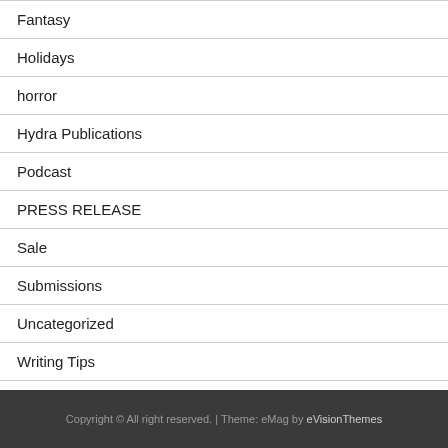Fantasy
Holidays
horror
Hydra Publications
Podcast
PRESS RELEASE
Sale
Submissions
Uncategorized
Writing Tips
Copyright © All right reserved. | Theme: eMag by eVisionThemes